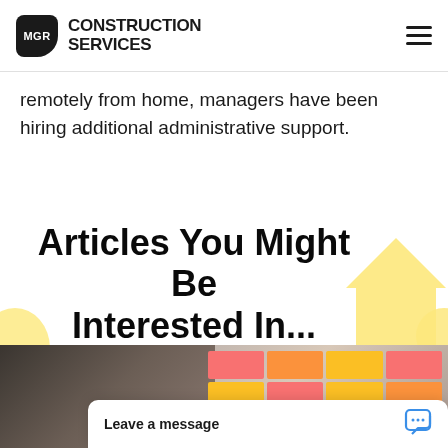MGR CONSTRUCTION SERVICES
remotely from home, managers have been hiring additional administrative support.
Articles You Might Be Interested In...
[Figure (photo): Photo of people in an office meeting or workshop, with sticky notes on a whiteboard on the right side.]
Leave a message